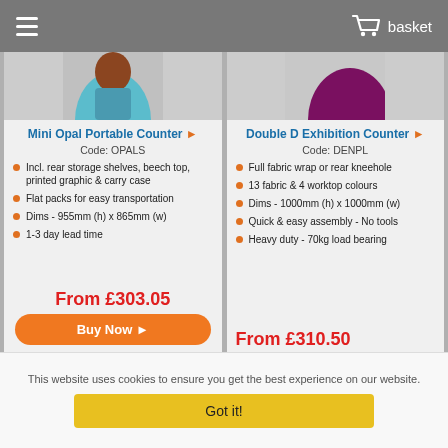basket
[Figure (photo): Mini Opal Portable Counter product image - person in cyan/brown]
Mini Opal Portable Counter ▶
Code: OPALS
Incl. rear storage shelves, beech top, printed graphic & carry case
Flat packs for easy transportation
Dims - 955mm (h) x 865mm (w)
1-3 day lead time
From £303.05
Buy Now ▶
[Figure (photo): Double D Exhibition Counter product image - purple/magenta shape]
Double D Exhibition Counter ▶
Code: DENPL
Full fabric wrap or rear kneehole
13 fabric & 4 worktop colours
Dims - 1000mm (h) x 1000mm (w)
Quick & easy assembly - No tools
Heavy duty - 70kg load bearing
From £310.50
This website uses cookies to ensure you get the best experience on our website.
Got it!